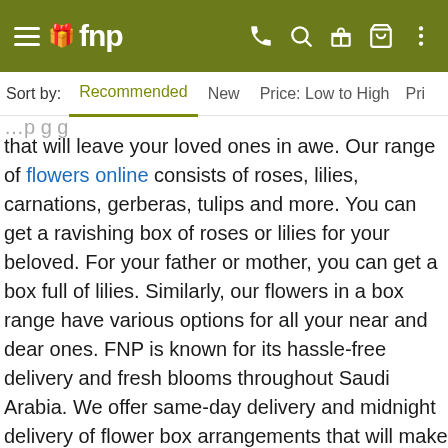fnp — navigation bar with hamburger menu, logo, phone, search, gift, cart, more icons
Sort by: Recommended  New  Price: Low to High  Pri
that will leave your loved ones in awe. Our range of flowers online consists of roses, lilies, carnations, gerberas, tulips and more. You can get a ravishing box of roses or lilies for your beloved. For your father or mother, you can get a box full of lilies. Similarly, our flowers in a box range have various options for all your near and dear ones. FNP is known for its hassle-free delivery and fresh blooms throughout Saudi Arabia. We offer same-day delivery and midnight delivery of flower box arrangements that will make your day memorable. We aim at spreading happiness with our top-notch quality products and timely delivery. If you are eager to surprise your loved ones with birthday flowers or anniversary flowers, then our online portal has the best ones for you. All you need to do now is to visit our online portal, explore our flowers in a box range, order the most beautiful one and celebrate your special occasions like never